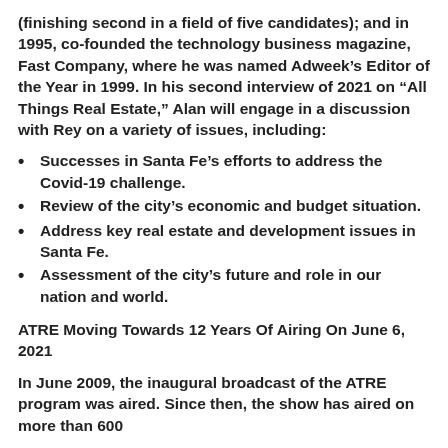(finishing second in a field of five candidates); and in 1995, co-founded the technology business magazine, Fast Company, where he was named Adweek's Editor of the Year in 1999. In his second interview of 2021 on "All Things Real Estate," Alan will engage in a discussion with Rey on a variety of issues, including:
Successes in Santa Fe's efforts to address the Covid-19 challenge.
Review of the city's economic and budget situation.
Address key real estate and development issues in Santa Fe.
Assessment of the city's future and role in our nation and world.
ATRE Moving Towards 12 Years Of Airing On June 6, 2021
In June 2009, the inaugural broadcast of the ATRE program was aired. Since then, the show has aired on more than 600